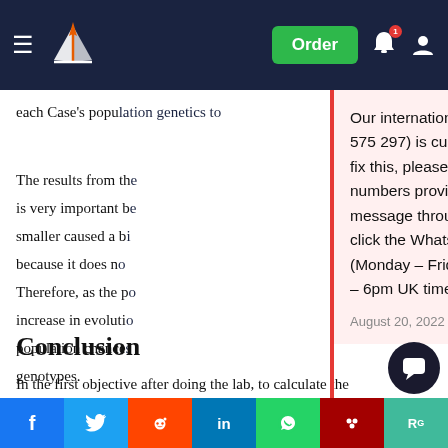Navigation header with logo, Order button, notification bell, and user icon
each Case's popu...
The results from th... is very important b... smaller caused a b... because it does n... Therefore, as the p... increase in evoluti... population chance... genotypes.
Our international phone number (+971 600 575 297) is currently out of service. Whilst we fix this, please use the alternative phone numbers provided on the contact page, message through your customer account or click the WhatsApp button from your mobile (Monday – Friday 9am – 5pm, Saturday 10am – 6pm UK time).
August 20, 2022
Conclusion
In the first objective after doing the lab, to calculate th... frequencies of genotypes and alleles in a gene pool o... population you must use the H-W formulas p+q=1 for alleles and 2... is the
[Figure (other): Social media share bar with Facebook, Twitter, Reddit, LinkedIn, WhatsApp, Mendeley, ResearchGate buttons]